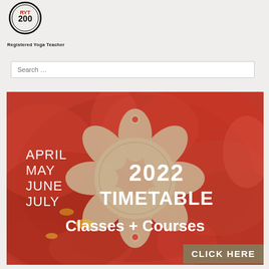[Figure (logo): RYT 200 Registered Yoga Teacher circular logo with text inside]
Registered Yoga Teacher
Search …
[Figure (illustration): Promotional banner with red flowers background and mandala shape. Text: APRIL MAY JUNE JULY 2022 TIMETABLE Classes + Courses CLICK HERE]